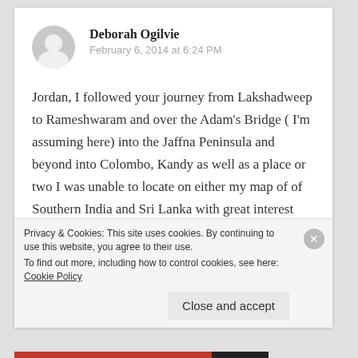Deborah Ogilvie
February 6, 2014 at 6:24 PM
Jordan, I followed your journey from Lakshadweep to Rameshwaram and over the Adam's Bridge ( I'm assuming here) into the Jaffna Peninsula and beyond into Colombo, Kandy as well as a place or two I was unable to locate on either my map of of Southern India and Sri Lanka with great interest and equal envy. You are a beautiful writer and
Privacy & Cookies: This site uses cookies. By continuing to use this website, you agree to their use.
To find out more, including how to control cookies, see here: Cookie Policy
Close and accept